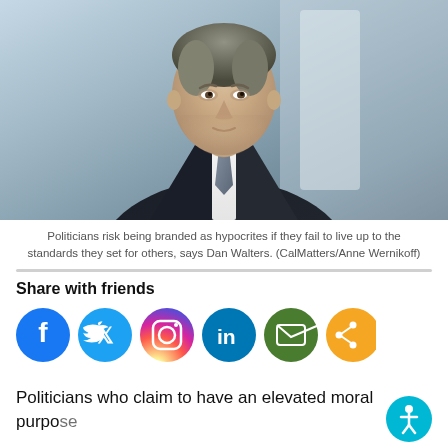[Figure (photo): Portrait photo of a man in a dark suit with gray hair, looking slightly to the side, with a blurred background.]
Politicians risk being branded as hypocrites if they fail to live up to the standards they set for others, says Dan Walters. (CalMatters/Anne Wernikoff)
Share with friends
[Figure (infographic): Row of social media sharing icons: Facebook, Twitter, Instagram, LinkedIn, Email, Share]
Politicians who claim to have an elevated moral purpose